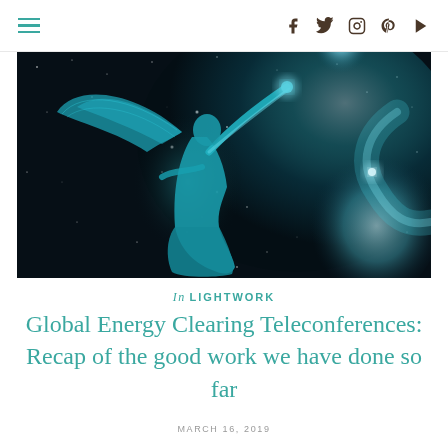≡  f  t  ⊙  ⊕  ▶
[Figure (illustration): An angel statue with wings reaching upward toward a glowing light, set against a dark cosmic background with stars and a blue-teal nebula/planet glow]
In LIGHTWORK
Global Energy Clearing Teleconferences: Recap of the good work we have done so far
MARCH 16, 2019